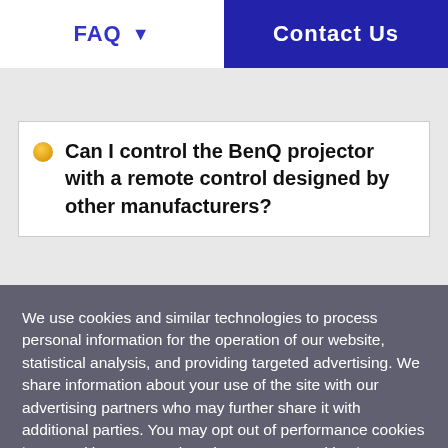FAQ  Contact Us
Can I control the BenQ projector with a remote control designed by other manufacturers?
We use cookies and similar technologies to process personal information for the operation of our website, statistical analysis, and providing targeted advertising. We share information about your use of the site with our advertising partners who may further share it with additional parties. You may opt out of performance cookies here, and learn more about how we use cookies here"
I understand
Cookie Setting    Find More